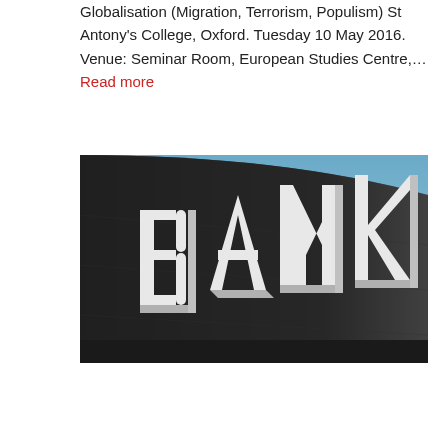Globalisation (Migration, Terrorism, Populism) St Antony's College, Oxford. Tuesday 10 May 2016. Venue: Seminar Room, European Studies Centre,... Read more
[Figure (photo): Exterior photograph of a bank building with large three-dimensional letters spelling 'BANK' on a dark curved facade, with a blue sky in the background and a multi-story building visible to the left.]